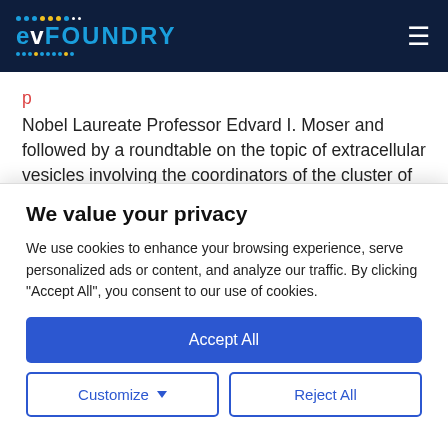evFOUNDRY logo and navigation
Nobel Laureate Professor Edvard I. Moser and followed by a roundtable on the topic of extracellular vesicles involving the coordinators of the cluster of the seven EU-funded ongoing FET projects on extracellular vesicles. Participation is
We value your privacy
We use cookies to enhance your browsing experience, serve personalized ads or content, and analyze our traffic. By clicking "Accept All", you consent to our use of cookies.
Accept All
Customize
Reject All